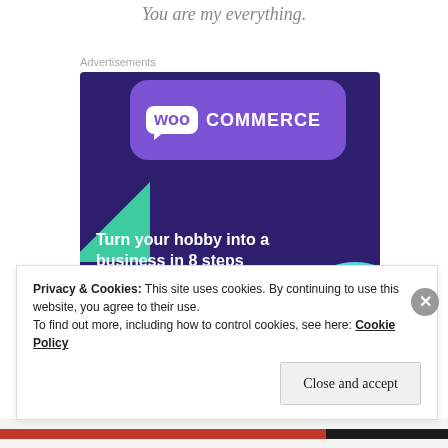You are my everything.
Advertisements
[Figure (screenshot): WooCommerce advertisement banner with purple background, green triangle, cyan circle, headline 'Turn your hobby into a business in 8 steps', and 'Start a new store' button]
Privacy & Cookies: This site uses cookies. By continuing to use this website, you agree to their use.
To find out more, including how to control cookies, see here: Cookie Policy
Close and accept